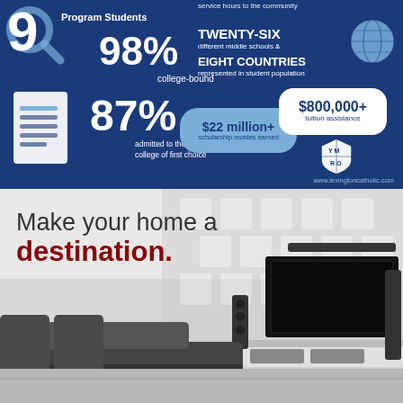[Figure (infographic): Blue background infographic for Lexington Catholic school showing statistics: 9 Program Students, 98% college-bound, TWENTY-SIX different middle schools & EIGHT COUNTRIES represented in student population, 87% admitted to the college of first choice, $22 million+ scholarship monies earned, $800,000+ tuition assistance. Website: www.lexingtoncatholic.com]
[Figure (photo): Modern home theater room with dark sofa chairs, large flat-screen TV mounted on white geometric wall panels, floor speakers, and entertainment console. Black and white/gray color scheme.]
Make your home a destination.